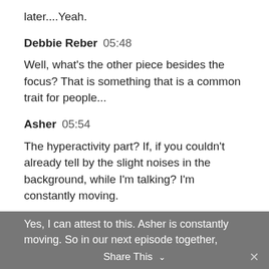later....Yeah.
Debbie Reber  05:48
Well, what's the other piece besides the focus? That is something that is a common trait for people...
Asher  05:54
The hyperactivity part? If, if you couldn't already tell by the slight noises in the background, while I'm talking? I'm constantly moving.
Debbie Reber  06:02
Yes, I can attest to this. Asher is constantly moving. So in our next episode together,
Share This